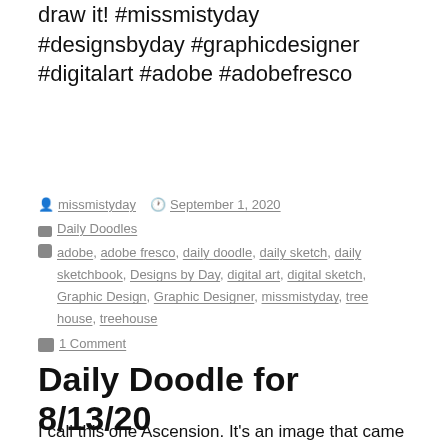draw it! #missmistyday #designsbyday #graphicdesigner #digitalart #adobe #adobefresco
By missmistyday  September 1, 2020  Daily Doodles  adobe, adobe fresco, daily doodle, daily sketch, daily sketchbook, Designs by Day, digital art, digital sketch, Graphic Design, Graphic Designer, missmistyday, tree house, treehouse  1 Comment
Daily Doodle for 8/13/20
I call this one Ascension. It's an image that came